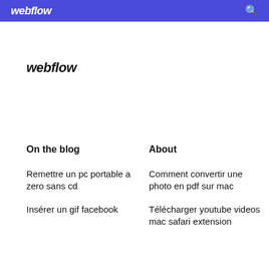webflow
webflow
On the blog
About
Remettre un pc portable a zero sans cd
Comment convertir une photo en pdf sur mac
Insérer un gif facebook
Télécharger youtube videos mac safari extension